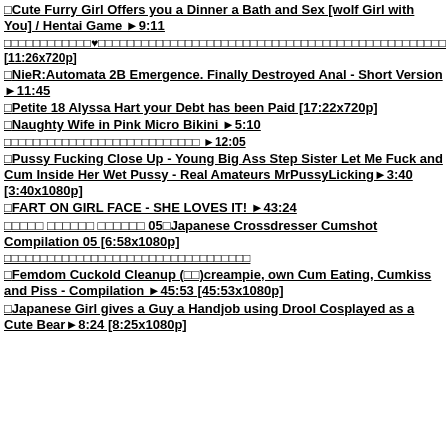□Cute Furry Girl Offers you a Dinner a Bath and Sex [wolf Girl with You] / Hentai Game ►9:11
□□□□□□□□□□□□□♥□□□□□□□□□□□□□□□□□□□□□□□□□□□□□□□□□□□□□□□□□□□□□ [11:26x720p]
□NieR:Automata 2B Emergence. Finally Destroyed Anal - Short Version ►11:45
□Petite 18 Alyssa Hart your Debt has been Paid [17:22x720p]
□Naughty Wife in Pink Micro Bikini ►5:10
□□□□□□□□□□□□□□□□□□□□□□□□□□□□ ►12:05
□Pussy Fucking Close Up - Young Big Ass Step Sister Let Me Fuck and Cum Inside Her Wet Pussy - Real Amateurs MrPussyLicking►3:40 [3:40x1080p]
□FART ON GIRL FACE - SHE LOVES IT! ►43:24
□□□□ □□□□□□ □□□□□□ 05□Japanese Crossdresser Cumshot Compilation 05 [6:58x1080p]
□□□□□□□□□□□□□□□□□□□□□□□□□□□□□□□□□□
□Femdom Cuckold Cleanup (□□)creampie, own Cum Eating, Cumkiss and Piss - Compilation ►45:53 [45:53x1080p]
□Japanese Girl gives a Guy a Handjob using Drool Cosplayed as a Cute Bear►8:24 [8:25x1080p]